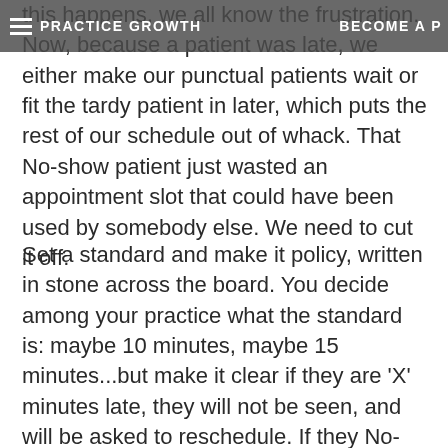PRACTICE GROWTH | BECOME A P
this happens, we all know the frustration. Now, because a patient was late, we either make our punctual patients wait or fit the tardy patient in later, which puts the rest of our schedule out of whack. That No-show patient just wasted an appointment slot that could have been used by somebody else. We need to cut it off.
Set a standard and make it policy, written in stone across the board. You decide among your practice what the standard is: maybe 10 minutes, maybe 15 minutes...but make it clear if they are 'X' minutes late, they will not be seen, and will be asked to reschedule. If they No-Show, call them with a reminder that they missed their appointment and ask if they would like to reschedule. But set a standard.